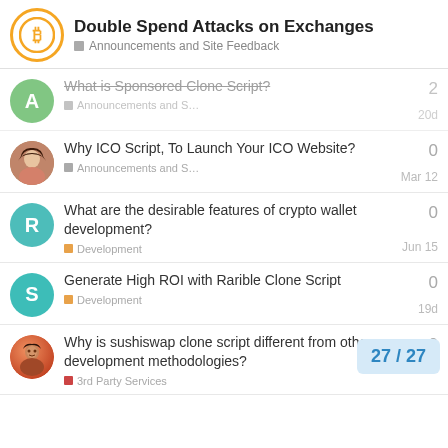Double Spend Attacks on Exchanges — Announcements and Site Feedback
What is Sponsored Clone Script? — Announcements and S… — 2 replies — 20d
Why ICO Script, To Launch Your ICO Website? — Announcements and S… — 0 replies — Mar 12
What are the desirable features of crypto wallet development? — Development — 0 replies — Jun 15
Generate High ROI with Rarible Clone Script — Development — 0 replies — 19d
Why is sushiswap clone script different from other development methodologies? — 3rd Party Services — 0 replies — 27/27